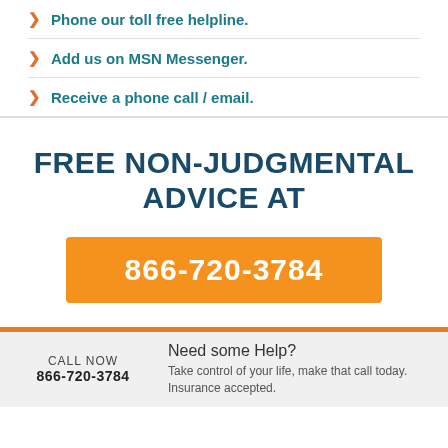Phone our toll free helpline.
Add us on MSN Messenger.
Receive a phone call / email.
FREE NON-JUDGMENTAL ADVICE AT
866-720-3784
CALL NOW 866-720-3784
Need some Help? Take control of your life, make that call today. Insurance accepted.